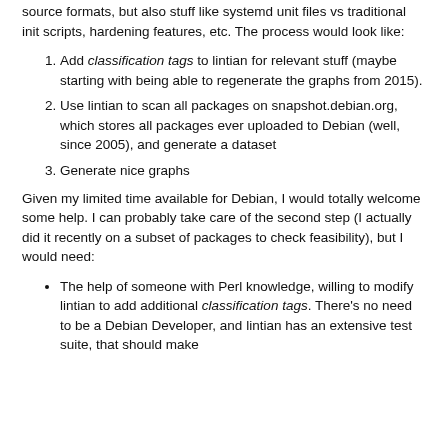source formats, but also stuff like systemd unit files vs traditional init scripts, hardening features, etc. The process would look like:
Add classification tags to lintian for relevant stuff (maybe starting with being able to regenerate the graphs from 2015).
Use lintian to scan all packages on snapshot.debian.org, which stores all packages ever uploaded to Debian (well, since 2005), and generate a dataset
Generate nice graphs
Given my limited time available for Debian, I would totally welcome some help. I can probably take care of the second step (I actually did it recently on a subset of packages to check feasibility), but I would need:
The help of someone with Perl knowledge, willing to modify lintian to add additional classification tags. There's no need to be a Debian Developer, and lintian has an extensive test suite, that should make